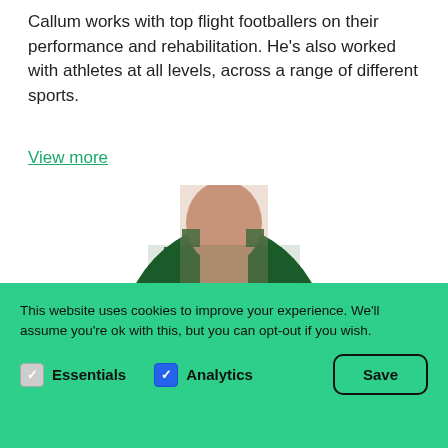Callum works with top flight footballers on their performance and rehabilitation. He's also worked with athletes at all levels, across a range of different sports.
View more
[Figure (photo): Blurred/pixelated image of a person wearing a dark green jacket, face obscured, upper body visible against white background]
This website uses cookies to improve your experience. We'll assume you're ok with this, but you can opt-out if you wish.